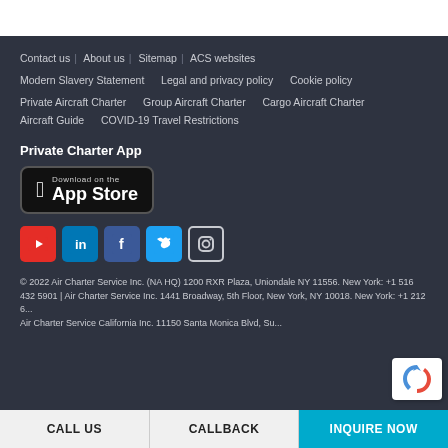Contact us | About us | Sitemap | ACS websites
Modern Slavery Statement | Legal and privacy policy | Cookie policy
Private Aircraft Charter | Group Aircraft Charter | Cargo Aircraft Charter | Aircraft Guide | COVID-19 Travel Restrictions
Private Charter App
[Figure (logo): Download on the App Store button]
[Figure (infographic): Social media icons: YouTube, LinkedIn, Facebook, Twitter, Instagram]
© 2022 Air Charter Service Inc. (NA HQ) 1200 RXR Plaza, Uniondale NY 11556. New York: +1 516 432 5901 | Air Charter Service Inc. 1441 Broadway, 5th Floor, New York, NY 10018. New York: +1 212 6... Air Charter Service California Inc. 11150 Santa Monica Blvd, Su...
CALL US | CALLBACK | INQUIRE NOW